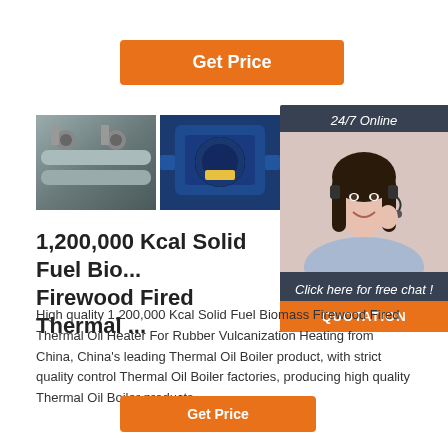Get Price
[Figure (photo): Row of industrial equipment photos: metal pipes/gauges, blue electric motor, blue industrial tanks, partial fourth image]
[Figure (photo): 24/7 Online customer service chat widget showing woman with headset, 'Click here for free chat!' text, and orange QUOTATION button]
1,200,000 Kcal Solid Fuel Bio... Firewood Fired Thermal ...
High quality 1,200,000 Kcal Solid Fuel Biomass Firewood Fired Thermal Oil Heater For Rubber Vulcanization Heating from China, China's leading Thermal Oil Boiler product, with strict quality control Thermal Oil Boiler factories, producing high quality Thermal Oil Boiler products.
Get Price